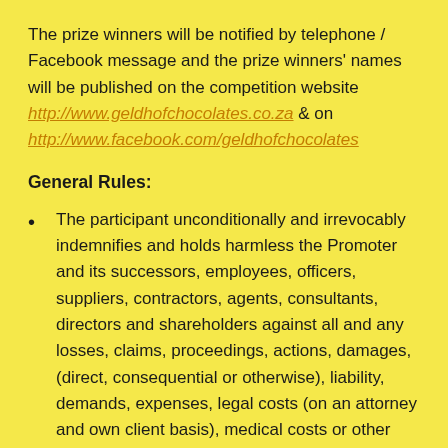The prize winners will be notified by telephone / Facebook message and the prize winners' names will be published on the competition website http://www.geldhofchocolates.co.za & on http://www.facebook.com/geldhofchocolates
General Rules:
The participant unconditionally and irrevocably indemnifies and holds harmless the Promoter and its successors, employees, officers, suppliers, contractors, agents, consultants, directors and shareholders against all and any losses, claims, proceedings, actions, damages, (direct, consequential or otherwise), liability, demands, expenses, legal costs (on an attorney and own client basis), medical costs or other costs howsoever arising out of, based upon, or in connection with (directly or indirectly) the participants participation in the competition, to the maximum extent